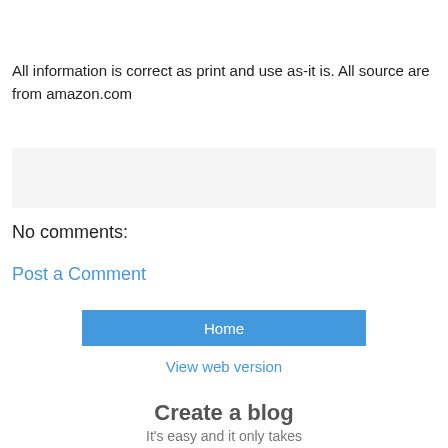All information is correct as print and use as-it is. All source are from amazon.com
[Figure (other): Light gray empty box, likely a comment input area or ad placeholder]
No comments:
Post a Comment
Home
View web version
Create a blog
It's easy and it only takes